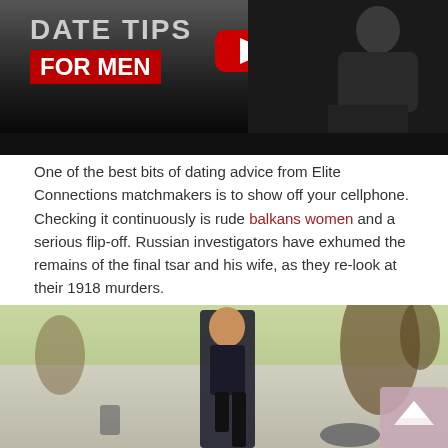[Figure (screenshot): YouTube video thumbnail showing 'DATE TIPS FOR MEN' text overlay with a man in a black shirt sitting, dark background]
One of the best bits of dating advice from Elite Connections matchmakers is to show off your cellphone. Checking it continuously is rude balkans women and a serious flip-off. Russian investigators have exhumed the remains of the final tsar and his wife, as they re-look at their 1918 murders.
[Figure (photo): Outdoor photo of a young woman with long brown hair in dark clothing crouching/sitting, with a park background]